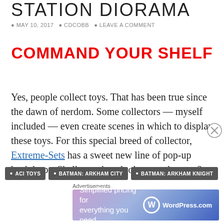STATION DIORAMA
MAY 10, 2017  CDCOBB  LEAVE A COMMENT
COMMAND YOUR SHELF
Yes, people collect toys. That has been true since the dawn of nerdom. Some collectors — myself included — even create scenes in which to display these toys. For this special breed of collector, Extreme-Sets has a sweet new line of pop-up backdrops. Shall we take a look at another one?
Continue reading →
ACI TOYS
BATMAN: ARKHAM CITY
BATMAN: ARKHAM KNIGHT
[Figure (screenshot): WordPress.com advertisement banner: Simplified pricing for everything you need.]